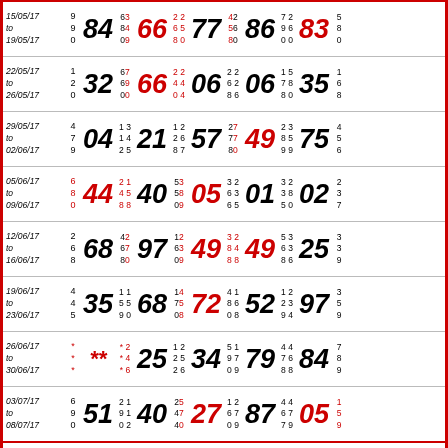| Date | Col1 | Num1 | Pair1 | Num2 | Pair2 | Num3 | Pair3 | Num4 | Pair4 | Num5 | Col2 |
| --- | --- | --- | --- | --- | --- | --- | --- | --- | --- | --- | --- |
| 15/05/17 to 19/05/17 | 9 9 0 | 84 | 6 3 / 8 4 / 0 9 | 66 | 2 2 / 6 5 / 8 0 | 77 | 4 2 / 5 6 / 8 0 | 86 | 7 2 / 9 6 / 0 0 | 83 | 5 8 0 |
| 22/05/17 to 26/05/17 | 1 2 0 | 32 | 6 7 / 6 9 / 0 0 | 66 | 2 2 / 4 4 / 0 4 | 06 | 2 2 / 6 2 / 8 6 | 06 | 1 5 / 7 8 / 8 0 | 35 | 1 6 8 |
| 29/05/17 to 02/06/17 | 4 7 9 | 04 | 1 3 / 1 4 / 2 5 | 21 | 1 2 / 2 6 / 8 7 | 57 | 2 7 / 7 7 / 8 0 | 49 | 2 3 / 8 5 / 9 9 | 75 | 4 5 6 |
| 05/06/17 to 09/06/17 | 6 8 0 | 44 | 2 1 / 4 5 / 8 8 | 40 | 5 3 / 5 8 / 0 9 | 05 | 3 2 / 6 3 / 6 5 | 01 | 3 2 / 3 8 / 5 0 | 02 | 2 3 7 |
| 12/06/17 to 16/06/17 | 2 6 8 | 68 | 4 2 / 6 7 / 8 0 | 97 | 1 2 / 6 3 / 0 9 | 49 | 3 2 / 8 4 / 8 8 | 49 | 5 3 / 6 3 / 8 6 | 25 | 3 3 9 |
| 19/06/17 to 23/06/17 | 4 4 5 | 35 | 1 1 / 5 5 / 9 0 | 68 | 1 4 / 7 5 / 0 8 | 72 | 4 1 / 8 6 / 0 8 | 52 | 1 2 / 2 3 / 9 4 | 97 | 3 5 9 |
| 26/06/17 to 30/06/17 | * * * | ** | * 2 / * 4 / * 6 | 25 | 1 2 / 2 5 / 2 6 | 34 | 5 1 / 9 7 / 0 9 | 79 | 4 4 / 7 6 / 8 8 | 84 | 7 8 9 |
| 03/07/17 to 08/07/17 | 6 9 0 | 51 | 2 1 / 9 1 / 0 2 | 40 | 2 5 / 4 7 / 4 0 | 27 | 1 2 / 6 7 / 0 9 | 87 | 4 4 / 6 7 / 7 9 | 05 | 1 5 9 |